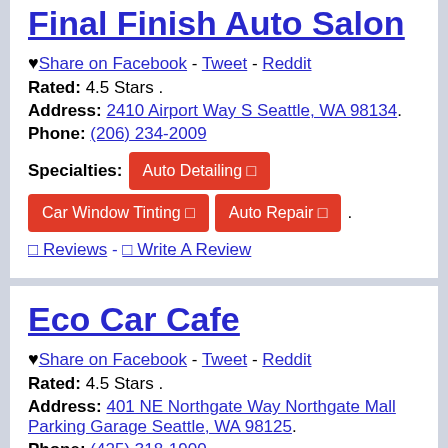Final Finish Auto Salon
♥ Share on Facebook - Tweet - Reddit
Rated: 4.5 Stars .
Address: 2410 Airport Way S Seattle, WA 98134.
Phone: (206) 234-2009
Specialties: Auto Detailing 🔍 Car Window Tinting 🔍 Auto Repair 🔍 .
🔍 Reviews - 🔍 Write A Review
Eco Car Cafe
♥ Share on Facebook - Tweet - Reddit
Rated: 4.5 Stars .
Address: 401 NE Northgate Way Northgate Mall Parking Garage Seattle, WA 98125.
Phone: (425) 318-1900